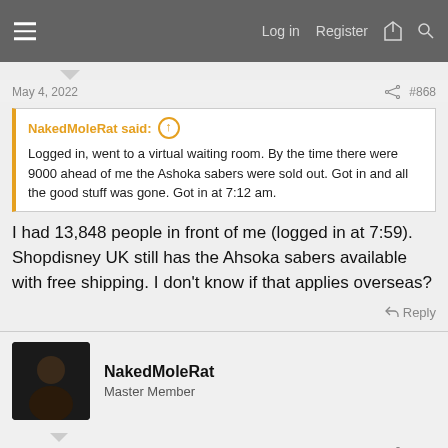Log in  Register
May 4, 2022    #868
NakedMoleRat said: ↑ Logged in, went to a virtual waiting room. By the time there were 9000 ahead of me the Ashoka sabers were sold out. Got in and all the good stuff was gone. Got in at 7:12 am.
I had 13,848 people in front of me (logged in at 7:59). Shopdisney UK still has the Ahsoka sabers available with free shipping. I don't know if that applies overseas?
↩ Reply
NakedMoleRat
Master Member
May 4, 2022    #869